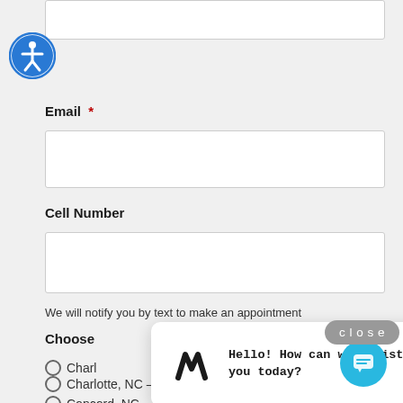Email *
Cell Number
We will notify you by text to make an appointment
Choose
Charlotte, NC – South Park (partially obscured)
close
[Figure (other): Chat popup with M logo and text: Hello! How can we assist you today?]
Charlotte, NC – Northlake
Concord, NC
Message *